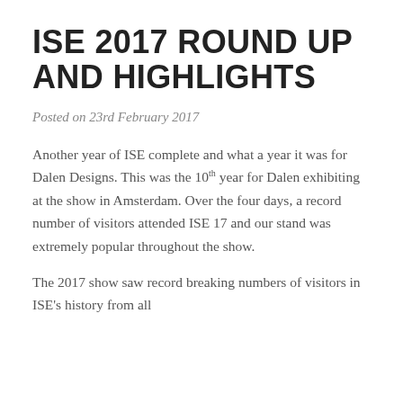ISE 2017 ROUND UP AND HIGHLIGHTS
Posted on 23rd February 2017
Another year of ISE complete and what a year it was for Dalen Designs. This was the 10th year for Dalen exhibiting at the show in Amsterdam. Over the four days, a record number of visitors attended ISE 17 and our stand was extremely popular throughout the show.
The 2017 show saw record breaking numbers of visitors in ISE's history from all corners of the IT/AV industry around the globe.